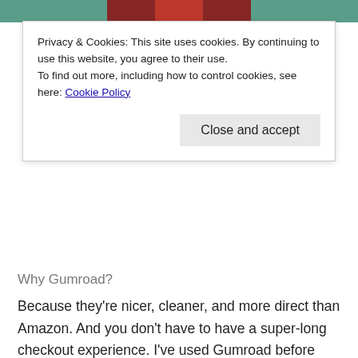[Figure (photo): Top portion of a decorative image showing a figure in red against a teal/green background, partially visible at the top of the page]
Privacy & Cookies: This site uses cookies. By continuing to use this website, you agree to their use.
To find out more, including how to control cookies, see here: Cookie Policy
Close and accept
Why Gumroad?
Because they're nicer, cleaner, and more direct than Amazon. And you don't have to have a super-long checkout experience. I've used Gumroad before and it's smooth and fast. I wanted your shopping to be as nice as possible, and Gumroad fit the bill!
Ok, second, I'm working on a new email newsletter!
It'll be free, and hopefully (if I can configure everything correctly) people who first sign up will get a free downloadable image for a desktop/phone background.